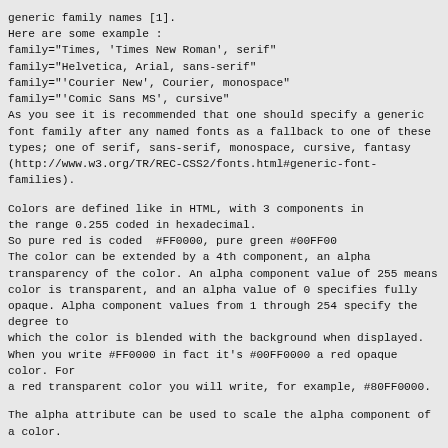generic family names [1].
Here are some example :
family="Times, 'Times New Roman', serif"
family="Helvetica, Arial, sans-serif"
family="'Courier New', Courier, monospace"
family="'Comic Sans MS', cursive"
As you see it is recommended that one should specify a generic font family after any named fonts as a fallback to one of these types; one of serif, sans-serif, monospace, cursive, fantasy (http://www.w3.org/TR/REC-CSS2/fonts.html#generic-font-families).
Colors are defined like in HTML, with 3 components in the range 0.255 coded in hexadecimal.
So pure red is coded  #FF0000, pure green #00FF00
The color can be extended by a 4th component, an alpha transparency of the color. An alpha component value of 255 means color is transparent, and an alpha value of 0 specifies fully opaque. Alpha component values from 1 through 254 specify the degree to which the color is blended with the background when displayed.
When you write #FF0000 in fact it's #00FF0000 a red opaque color. For a red transparent color you will write, for example, #80FF0000.
The alpha attribute can be used to scale the alpha component of a color.